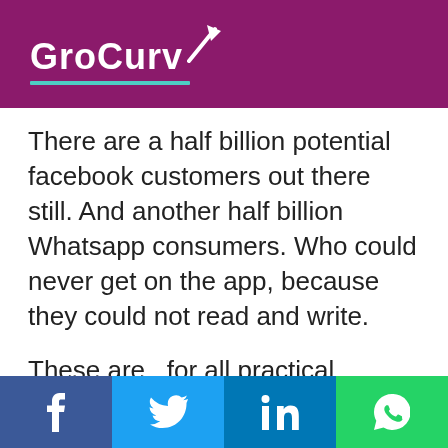[Figure (logo): GroCurv logo with white text on purple background and teal underline]
There are a half billion potential facebook customers out there still. And another half billion Whatsapp consumers. Who could never get on the app, because they could not read and write.
These are , for all practical purposed brands that start with zero in rural India. They have no legacy, no relevance. Can a voice based chat app enter rural india with a first mover advantage?
Facebook | Twitter | LinkedIn | WhatsApp social share buttons